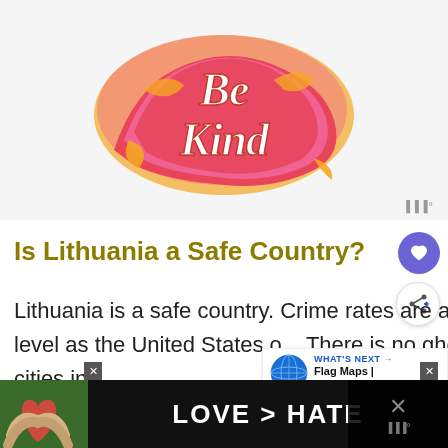[Figure (illustration): Colorful decorative lettering illustration reading 'Be Kind' in red, pink, and yellow swirling retro typography on white background]
Is Lithuania a Safe Country?
Lithuania is a safe country. Crime rates are at the same level as the United States o... There is no ghetto and unsafe cities in
[Figure (infographic): WHAT'S NEXT panel showing globe icon with text: Flag Maps | Mappr]
[Figure (photo): Bottom advertisement banner with photo of hands forming heart shape, dark background, white text reading LOVE > HATE]